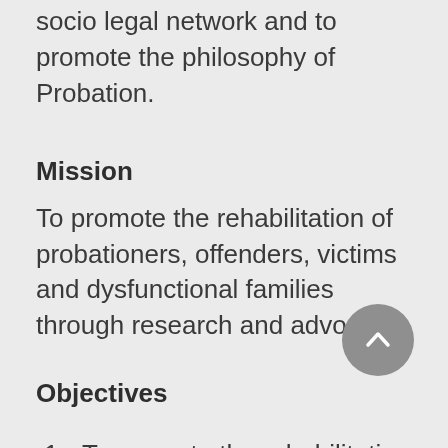socio legal network and to promote the philosophy of Probation.
Mission
To promote the rehabilitation of probationers, offenders, victims and dysfunctional families through research and advocacy.
Objectives
1. To promote the rehabilitation of probationers, offenders, victims and dysfunctional families